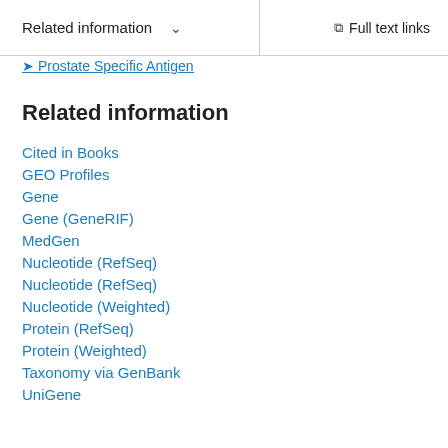Related information  ∨  Full text links
Prostate Specific Antigen
Related information
Cited in Books
GEO Profiles
Gene
Gene (GeneRIF)
MedGen
Nucleotide (RefSeq)
Nucleotide (RefSeq)
Nucleotide (Weighted)
Protein (RefSeq)
Protein (Weighted)
Taxonomy via GenBank
UniGene